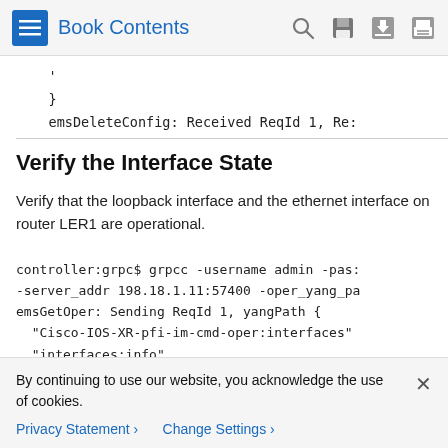Book Contents
}
emsDeleteConfig: Received ReqId 1, Re:
Verify the Interface State
Verify that the loopback interface and the ethernet interface on router LER1 are operational.
controller:grpc$ grpcc -username admin -pass -server_addr 198.18.1.11:57400 -oper_yang_pa emsGetOper: Sending ReqId 1, yangPath {
  "Cisco-IOS-XR-pfi-im-cmd-oper:interfaces"
By continuing to use our website, you acknowledge the use of cookies.
Privacy Statement > Change Settings >